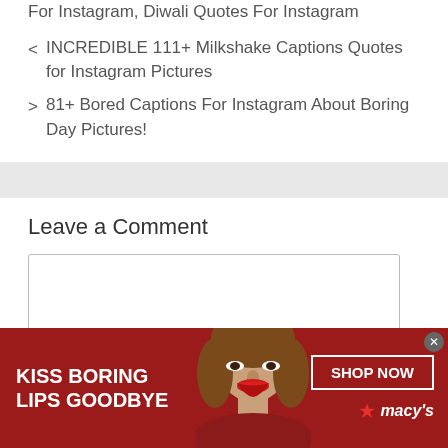For Instagram, Diwali Quotes For Instagram
< INCREDIBLE 111+ Milkshake Captions Quotes for Instagram Pictures
> 81+ Bored Captions For Instagram About Boring Day Pictures!
Leave a Comment
[Figure (screenshot): Comment text area input box, empty]
[Figure (photo): Macy's advertisement banner: 'KISS BORING LIPS GOODBYE' with a woman wearing red lipstick and a SHOP NOW button with the Macy's star logo]